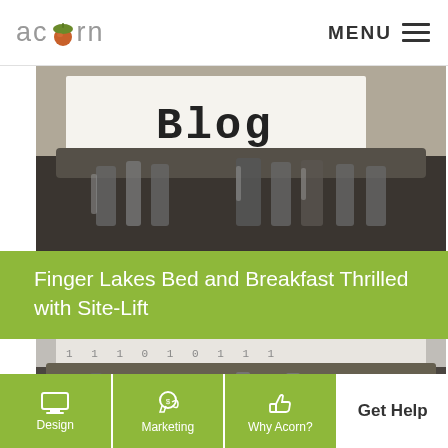[Figure (logo): Acorn logo with acorn icon replacing the 'o' in 'acorn', gray text]
MENU
[Figure (photo): Close-up of a typewriter with paper showing the word 'Blog' typed on it, black and white/sepia tones]
Finger Lakes Bed and Breakfast Thrilled with Site-Lift
[Figure (photo): Second blog post image, partial view of typewriter keys, grayscale]
[Figure (infographic): Bottom navigation bar with Design, Marketing, Why Acorn? icons on green background, and Get Help button]
Design
Marketing
Why Acorn?
Get Help